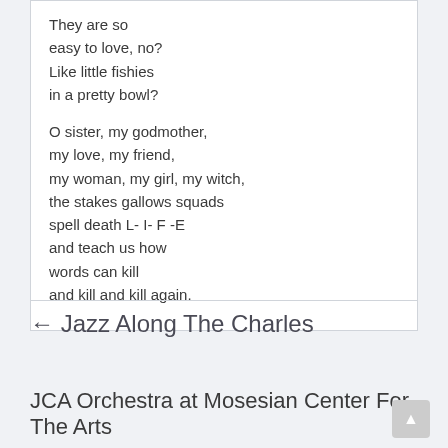They are so
easy to love, no?
Like little fishies
in a pretty bowl?

O sister, my godmother,
my love, my friend,
my woman, my girl, my witch,
the stakes gallows squads
spell death L- I- F -E
and teach us how
words can kill
and kill and kill again.
← Jazz Along The Charles
JCA Orchestra at Mosesian Center For The Arts